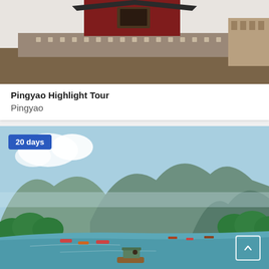[Figure (photo): Pingyao ancient architecture with red decorated gate tower and ornate stone wall with cross-pattern carvings]
Pingyao Highlight Tour
Pingyao
[Figure (photo): Scenic river landscape with karst mountains, lush green trees, and traditional bamboo raft with tourists floating on calm river]
20 days